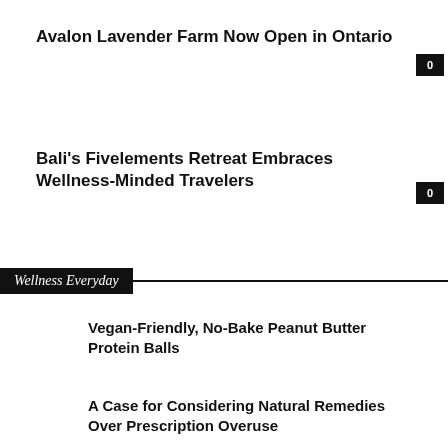Avalon Lavender Farm Now Open in Ontario
Bali's Fivelements Retreat Embraces Wellness-Minded Travelers
Wellness Everyday
Vegan-Friendly, No-Bake Peanut Butter Protein Balls
A Case for Considering Natural Remedies Over Prescription Overuse